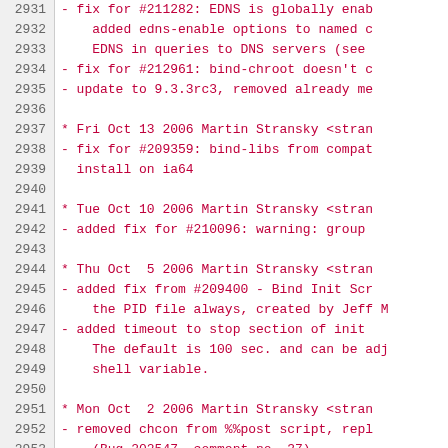2931 - fix for #211282: EDNS is globally ena...
2932     added edns-enable options to named c...
2933     EDNS in queries to DNS servers (see ...
2934 - fix for #212961: bind-chroot doesn't c...
2935 - update to 9.3.3rc3, removed already me...
2936
2937 * Fri Oct 13 2006 Martin Stransky <stra...
2938 - fix for #209359: bind-libs from compat...
2939   install on ia64
2940
2941 * Tue Oct 10 2006 Martin Stransky <stra...
2942 - added fix for #210096: warning: group ...
2943
2944 * Thu Oct  5 2006 Martin Stransky <stra...
2945 - added fix from #209400 - Bind Init Scr...
2946     the PID file always, created by Jeff M...
2947 - added timeout to stop section of init ...
2948     The default is 100 sec. and can be adj...
2949     shell variable.
2950
2951 * Mon Oct  2 2006 Martin Stransky <stra...
2952 - removed chcon from %%post script, repl...
2953     (Bug 202547, comment no. 37)
2954